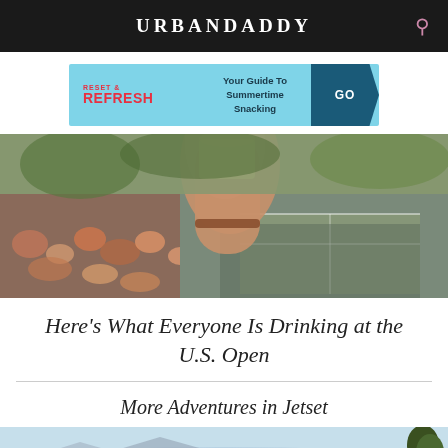URBANDADDY
[Figure (infographic): Ad banner: Reset & Refresh - Your Guide To Summertime Snacking - GO]
[Figure (photo): Person holding a drink at the U.S. Open tennis tournament, crowd and tennis court visible in background]
Here's What Everyone Is Drinking at the U.S. Open
More Adventures in Jetset
[Figure (photo): Partial view of a landscape scene with sky, water, and a tree at lower right corner]